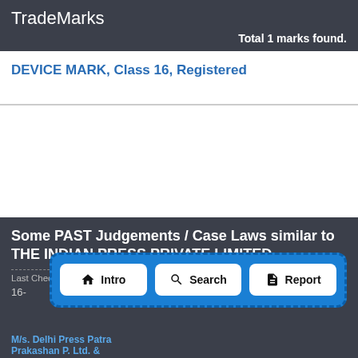TradeMarks
Total 1 marks found.
DEVICE MARK, Class 16, Registered
Some PAST Judgements / Case Laws similar to THE INDIAN PRESS PRIVATE LIMITED
Last Checked Past / Closed Litigation On 30-08-2022 03:01
16-
[Figure (screenshot): Navigation overlay with three buttons: Intro, Search, Report on blue dashed background]
M/s. Delhi Press Patra Prakashan P. Ltd. &